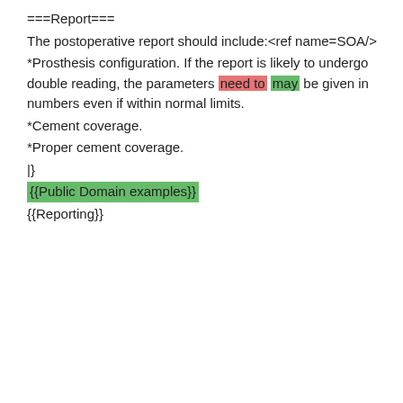===Report===
The postoperative report should include:<ref name=SOA/>
*Prosthesis configuration. If the report is likely to undergo double reading, the parameters need to [strikethrough: may] be given in numbers even if within normal limits.
*Cement coverage.
*Proper cement coverage.
|}
{{Public Domain examples}}
{{Reporting}}